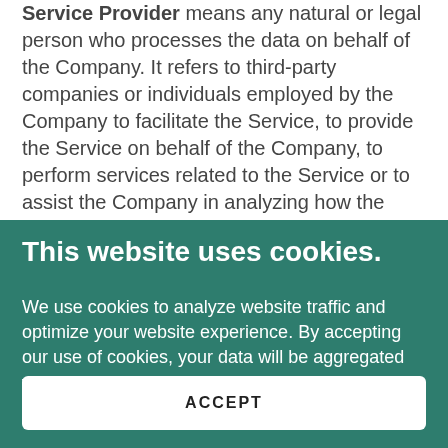Service Provider means any natural or legal person who processes the data on behalf of the Company. It refers to third-party companies or individuals employed by the Company to facilitate the Service, to provide the Service on behalf of the Company, to perform services related to the Service or to assist the Company in analyzing how the Service is used. Usage Data refers to data collected automatically, either generated by the use of the Service or from
This website uses cookies.
We use cookies to analyze website traffic and optimize your website experience. By accepting our use of cookies, your data will be aggregated with all other user data.
ACCEPT